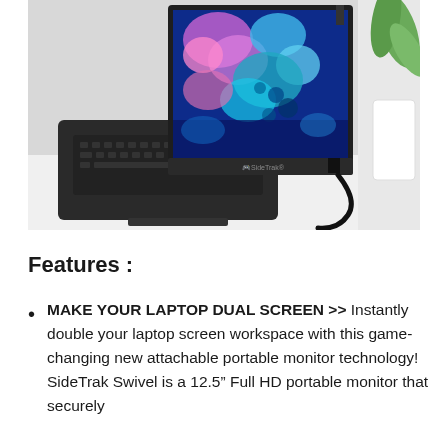[Figure (photo): A SideTrak portable monitor attached to the side of a laptop. The portable monitor displays a colorful blue and pink abstract/microscopy image. The laptop is dark colored with a black keyboard. A black USB cable runs from the monitor. A white plant pot with green leaves is visible in the background on a white surface.]
Features :
MAKE YOUR LAPTOP DUAL SCREEN >> Instantly double your laptop screen workspace with this game-changing new attachable portable monitor technology! SideTrak Swivel is a 12.5″ Full HD portable monitor that securely